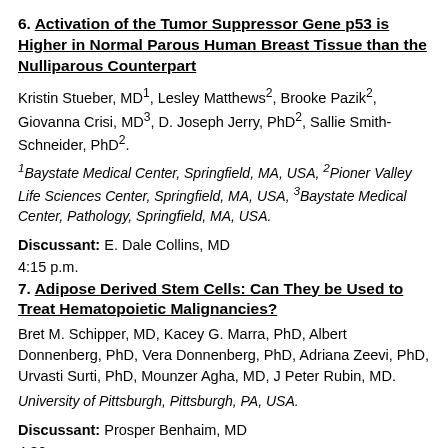6. Activation of the Tumor Suppressor Gene p53 is Higher in Normal Parous Human Breast Tissue than the Nulliparous Counterpart
Kristin Stueber, MD1, Lesley Matthews2, Brooke Pazik2, Giovanna Crisi, MD3, D. Joseph Jerry, PhD2, Sallie Smith-Schneider, PhD2.
1Baystate Medical Center, Springfield, MA, USA, 2Pioner Valley Life Sciences Center, Springfield, MA, USA, 3Baystate Medical Center, Pathology, Springfield, MA, USA.
Discussant: E. Dale Collins, MD
4:15 p.m.
7. Adipose Derived Stem Cells: Can They be Used to Treat Hematopoietic Malignancies?
Bret M. Schipper, MD, Kacey G. Marra, PhD, Albert Donnenberg, PhD, Vera Donnenberg, PhD, Adriana Zeevi, PhD, Urvasti Surti, PhD, Mounzer Agha, MD, J Peter Rubin, MD.
University of Pittsburgh, Pittsburgh, PA, USA.
Discussant: Prosper Benhaim, MD
4:30 p.m.